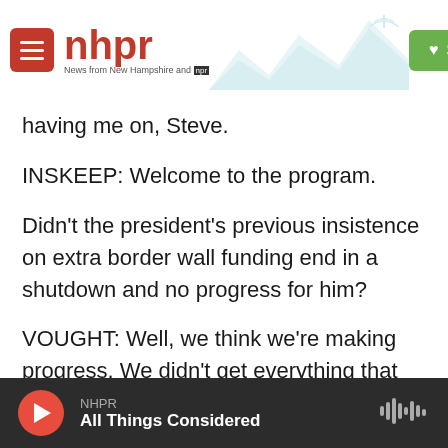nhpr — News from New Hampshire and NPR | Support
having me on, Steve.
INSKEEP: Welcome to the program.
Didn't the president's previous insistence on extra border wall funding end in a shutdown and no progress for him?
VOUGHT: Well, we think we're making progress. We didn't get everything that we made - we requested in the end of last year's appropriations bill. However, the president, as you know, has moved forward with his authorities and statutes to
NHPR — All Things Considered